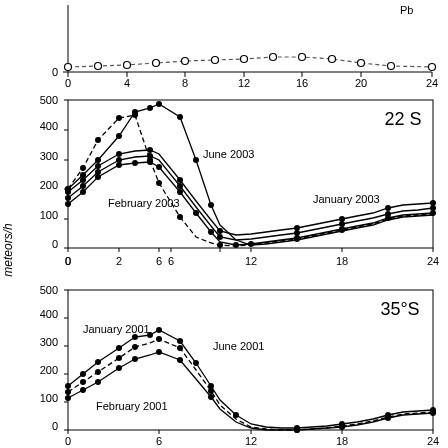[Figure (continuous-plot): Top partial chart showing a curve with open circles near zero, x-axis labeled 'local time [CET]' from 0 to 24]
[Figure (continuous-plot): Middle line chart labeled '22 S' showing meteor rates (meteors/h) vs local time 0-24 for three months: January 2003 (low ~50-200), February 2003 (peaks ~440 around hour 5), June 2003 (peaks ~470 around hour 7). Y-axis 0-500.]
[Figure (continuous-plot): Bottom line chart labeled '35°S' showing meteor rates (meteors/h) vs local time 0-24 for three months: January 2001 (peaks ~350 around hour 7), February 2001 (lower, ~150-300), June 2001 (peaks ~300 around hour 8). Y-axis 0-500.]